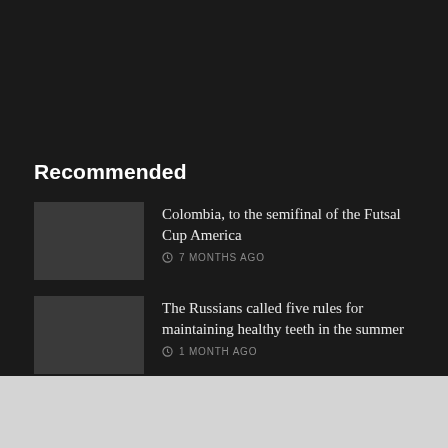Recommended
Colombia, to the semifinal of the Futsal Cup America — 7 MONTHS AGO
The Russians called five rules for maintaining healthy teeth in the summer — 1 MONTH AGO